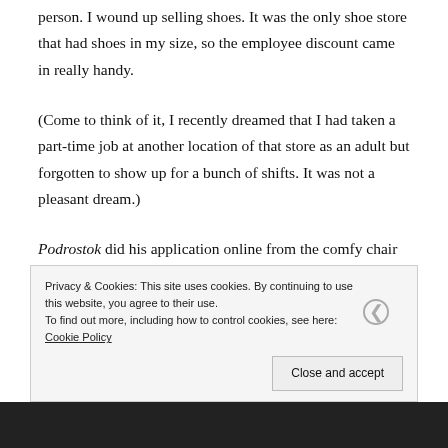walking around the mall and completing job applications in person. I wound up selling shoes. It was the only shoe store that had shoes in my size, so the employee discount came in really handy.
(Come to think of it, I recently dreamed that I had taken a part-time job at another location of that store as an adult but forgotten to show up for a bunch of shifts. It was not a pleasant dream.)
Podrostok did his application online from the comfy chair with his siblings and me listening to him read aloud each of
Privacy & Cookies: This site uses cookies. By continuing to use this website, you agree to their use.
To find out more, including how to control cookies, see here: Cookie Policy
Close and accept